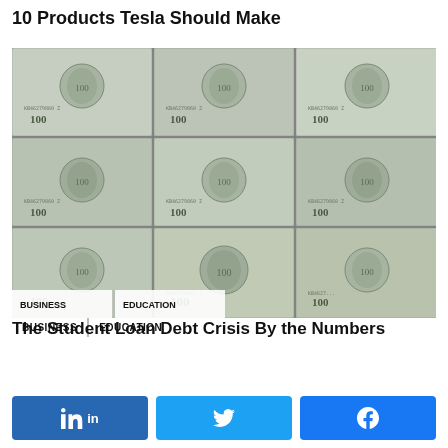10 Products Tesla Should Make
[Figure (photo): Overhead view of multiple US $100 dollar bills arranged in a grid pattern, in grayscale/green tones]
BUSINESS   EDUCATION
The Student Loan Debt Crisis By the Numbers
[Figure (infographic): Social sharing buttons: LinkedIn, Twitter, Facebook]